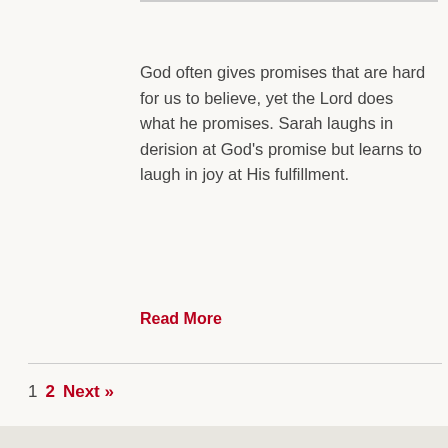God often gives promises that are hard for us to believe, yet the Lord does what he promises. Sarah laughs in derision at God's promise but learns to laugh in joy at His fulfillment.
Read More
1  2  Next »